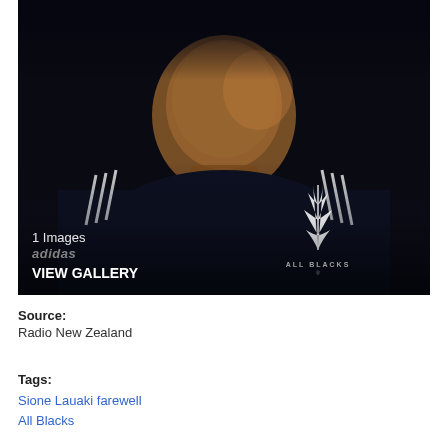[Figure (photo): Portrait photo of a large rugby player wearing an All Blacks (New Zealand national rugby team) adidas jersey. The player is looking at the camera with arms crossed. Text overlay reads '1 Images', 'adidas', 'VIEW GALLERY'. All Blacks fern logo visible bottom right of image.]
Source:
Radio New Zealand
Tags:
Sione Lauaki farewell
All Blacks